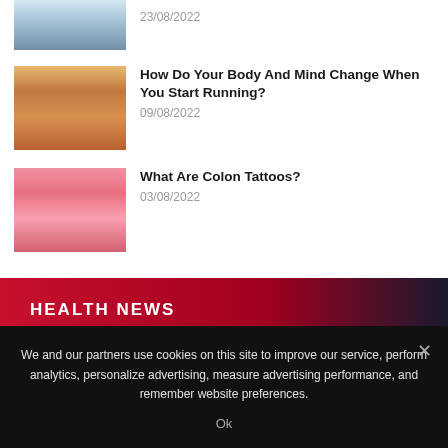[Figure (photo): Partial view of person in white shirt with red tie, cropped at top]
23/08/2022
[Figure (photo): Person running on road with autumn trees in background]
How Do Your Body And Mind Change When You Start Running?
09/08/2022
[Figure (photo): Person holding intestine model against pink background]
What Are Colon Tattoos?
03/08/2022
HEALTH NEWS
We and our partners use cookies on this site to improve our service, perform analytics, personalize advertising, measure advertising performance, and remember website preferences.
Ok